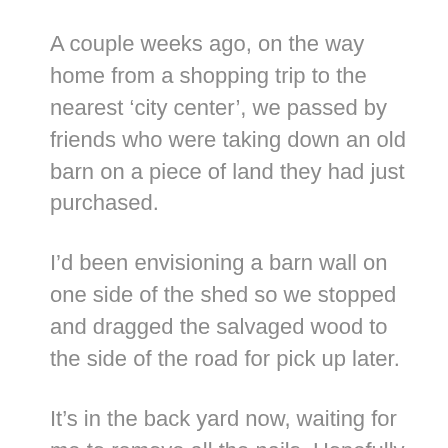A couple weeks ago, on the way home from a shopping trip to the nearest 'city center', we passed by friends who were taking down an old barn on a piece of land they had just purchased.
I'd been envisioning a barn wall on one side of the shed so we stopped and dragged the salvaged wood to the side of the road for pick up later.
It's in the back yard now, waiting for me to remove all the nails. Hopefully tomorrow. Absolutely has to be done before the snow flies.
Too many plans! Too little time!
I have noticed lately that I envision something and boom! it falls into my existence like wow! A good thing right? . . . just a